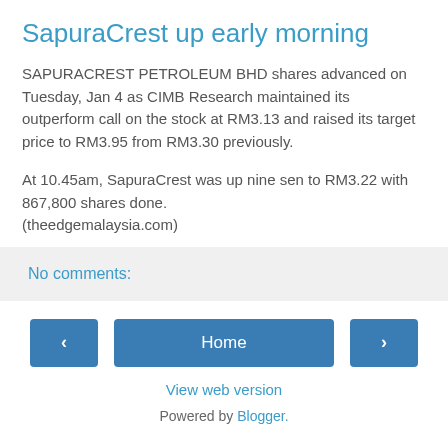SapuraCrest up early morning
SAPURACREST PETROLEUM BHD shares advanced on Tuesday, Jan 4 as CIMB Research maintained its outperform call on the stock at RM3.13 and raised its target price to RM3.95 from RM3.30 previously.
At 10.45am, SapuraCrest was up nine sen to RM3.22 with 867,800 shares done.
(theedgemalaysia.com)
No comments:
Home
View web version
Powered by Blogger.